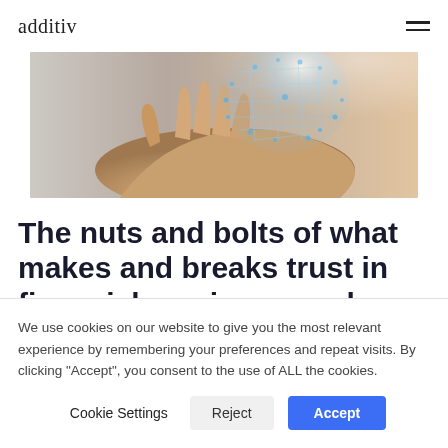additiv
[Figure (photo): A hand holding a glowing digital network sphere, representing fintech or digital finance technology.]
The nuts and bolts of what makes and breaks trust in financial services – and
We use cookies on our website to give you the most relevant experience by remembering your preferences and repeat visits. By clicking "Accept", you consent to the use of ALL the cookies.